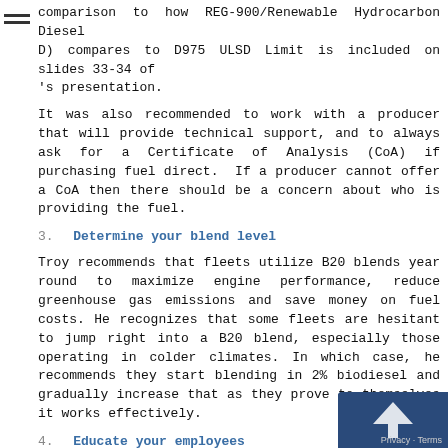comparison to how REG-900/Renewable Hydrocarbon Diesel (D) compares to D975 ULSD Limit is included on slides 33-34 of 's presentation.
It was also recommended to work with a producer that will provide technical support, and to always ask for a Certificate of Analysis (CoA) if purchasing fuel direct. If a producer cannot offer a CoA then there should be a concern about who is providing the fuel.
3. Determine your blend level
Troy recommends that fleets utilize B20 blends year round to maximize engine performance, reduce greenhouse gas emissions and save money on fuel costs. He recognizes that some fleets are hesitant to jump right into a B20 blend, especially those operating in colder climates. In which case, he recommends they start blending in 2% biodiesel and gradually increase that as they prove to themselves it works effectively.
4. Educate your employees
Biodiesel is not only a summer fuel, but also a year-round can be used in conditions such as -30°F up to B20 blends additional cold weather stabilizer. With 100% of original equipment